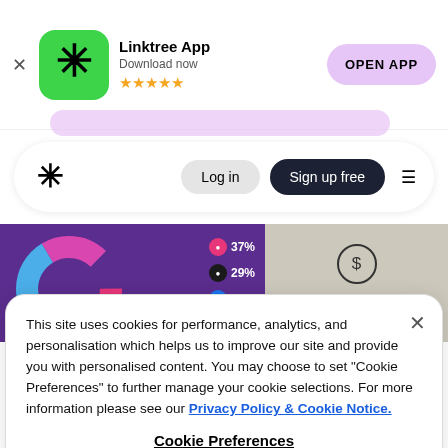[Figure (screenshot): Linktree App banner with green asterisk icon, app name 'Linktree App', subtitle 'Download now', five gold stars, and pink 'OPEN APP' button]
[Figure (screenshot): Navigation bar with Linktree asterisk logo, Log in button, Sign up free button, and hamburger menu]
[Figure (donut-chart): Partial view of purple panel with donut chart showing 37%, 29%, 21% stats, and a revenue panel showing dollar sign and 237]
This site uses cookies for performance, analytics, and personalisation which helps us to improve our site and provide you with personalised content. You may choose to set "Cookie Preferences" to further manage your cookie selections. For more information please see our Privacy Policy & Cookie Notice.
Cookie Preferences